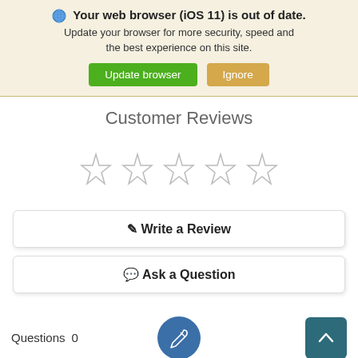Your web browser (iOS 11) is out of date. Update your browser for more security, speed and the best experience on this site. Update browser  Ignore
Customer Reviews
[Figure (illustration): Five empty star rating icons in a row]
Write a Review
Ask a Question
Questions  0